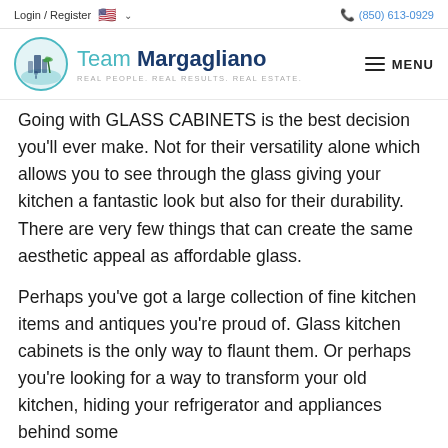Login / Register  🇺🇸 ∨    (850) 613-0929
[Figure (logo): Team Margagliano real estate logo with circular teal emblem showing buildings and palm trees, text reads 'Team Margagliano — Real People. Real Results. Real Estate.']
Going with GLASS CABINETS is the best decision you'll ever make. Not for their versatility alone which allows you to see through the glass giving your kitchen a fantastic look but also for their durability. There are very few things that can create the same aesthetic appeal as affordable glass.
Perhaps you've got a large collection of fine kitchen items and antiques you're proud of. Glass kitchen cabinets is the only way to flaunt them. Or perhaps you're looking for a way to transform your old kitchen, hiding your refrigerator and appliances behind some